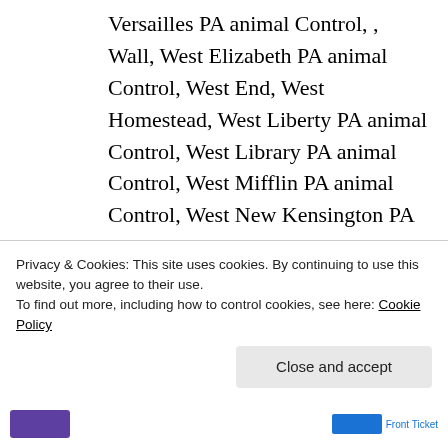Versailles PA animal Control, , Wall, West Elizabeth PA animal Control, West End, West Homestead, West Liberty PA animal Control, West Library PA animal Control, West Mifflin PA animal Control, West New Kensington PA animal Control, West Tarentum PA animal Control, West View PA animal
Privacy & Cookies: This site uses cookies. By continuing to use this website, you agree to their use.
To find out more, including how to control cookies, see here: Cookie Policy
Close and accept